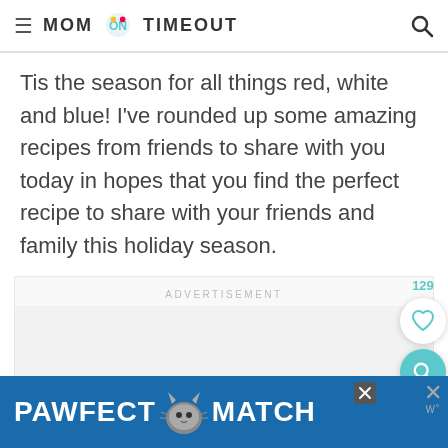≡ MOM ON TIMEOUT [search icon]
Tis the season for all things red, white and blue! I've rounded up some amazing recipes from friends to share with you today in hopes that you find the perfect recipe to share with your friends and family this holiday season.
ADVERTISEMENT
[Figure (screenshot): Advertisement placeholder block with ADVERTISEMENT label and floating save (heart) button showing 129 saves, and a search button]
[Figure (screenshot): Bottom banner ad: PAWFECT MATCH with cat graphic on blue background, with close X button and W+ branding]